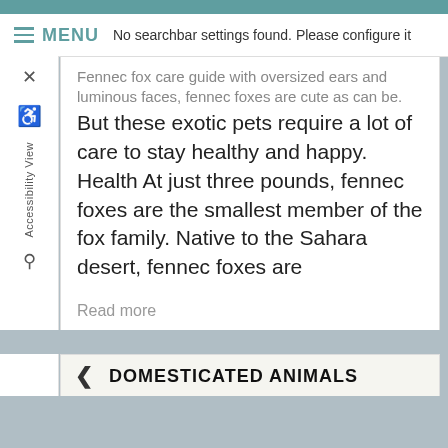No searchbar settings found. Please configure it
Fennec fox care guide with oversized ears and luminous faces, fennec foxes are cute as can be. But these exotic pets require a lot of care to stay healthy and happy. Health At just three pounds, fennec foxes are the smallest member of the fox family. Native to the Sahara desert, fennec foxes are
Read more
DOMESTICATED ANIMALS
PRAIRIE DOGS